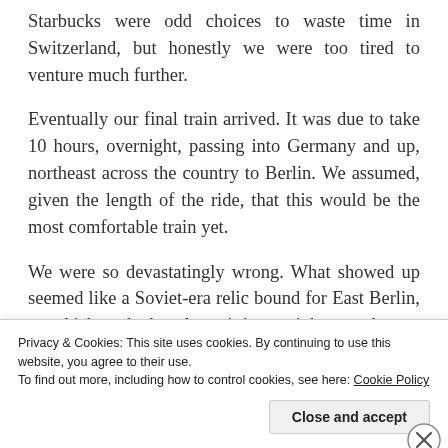Starbucks were odd choices to waste time in Switzerland, but honestly we were too tired to venture much further.
Eventually our final train arrived. It was due to take 10 hours, overnight, passing into Germany and up, northeast across the country to Berlin. We assumed, given the length of the ride, that this would be the most comfortable train yet.
We were so devastatingly wrong. What showed up seemed like a Soviet-era relic bound for East Berlin, on which we had to sleep sitting upright over the
Privacy & Cookies: This site uses cookies. By continuing to use this website, you agree to their use.
To find out more, including how to control cookies, see here: Cookie Policy
Close and accept